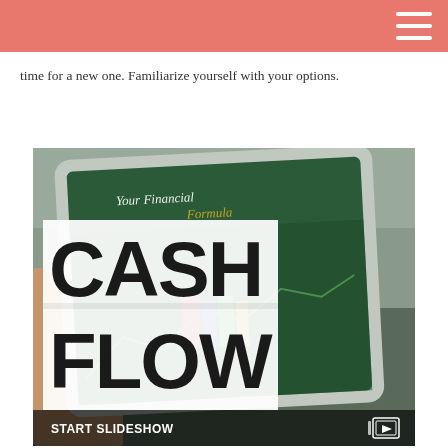time for a new one. Familiarize yourself with your options.
[Figure (screenshot): A photo of a tablet displaying a financial dashboard with 'Your Financial Formula' heading and a large white overlay box with bold text reading CASH FLOW. The bottom of the image has a dark bar with 'START SLIDESHOW' text and a slideshow icon.]